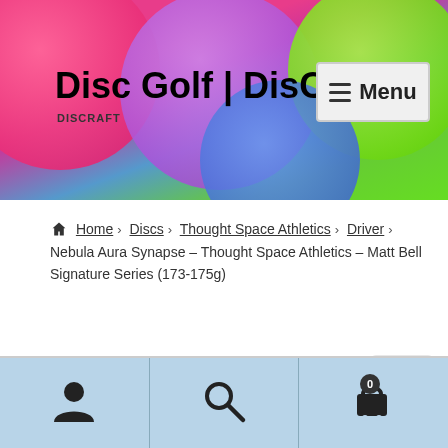Disc Golf | DisCats
Home > Discs > Thought Space Athletics > Driver > Nebula Aura Synapse – Thought Space Athletics – Matt Bell Signature Series (173-175g)
[Figure (screenshot): Zoom/magnify icon button for product image]
Bottom navigation bar with account, search, and cart (0) icons